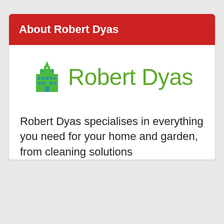About Robert Dyas
[Figure (logo): Robert Dyas logo: a stylized building icon in blue and green on the left, followed by the text 'Robert Dyas' in green]
Robert Dyas specialises in everything you need for your home and garden, from cleaning solutions